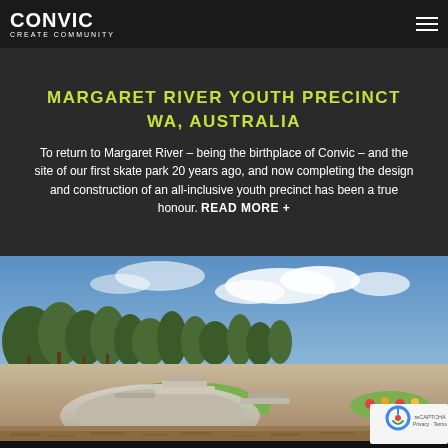CONVIC CREATE COMMUNITY
MARGARET RIVER YOUTH PRECINCT WA, AUSTRALIA
To return to Margaret River – being the birthplace of Convic – and the site of our first skate park 20 years ago, and now completing the design and construction of an all-inclusive youth precinct has been a true honour. READ MORE +
[Figure (photo): Aerial/wide-angle view of the Margaret River Youth Precinct skate park showing concrete skate elements, grassed areas, trees, and blue sky in the background.]